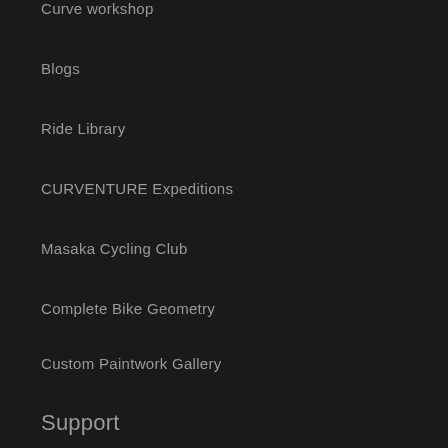Curve workshop
Blogs
Ride Library
CURVENTURE Expeditions
Masaka Cycling Club
Complete Bike Geometry
Custom Paintwork Gallery
Support
Demo a Curve
FAQs